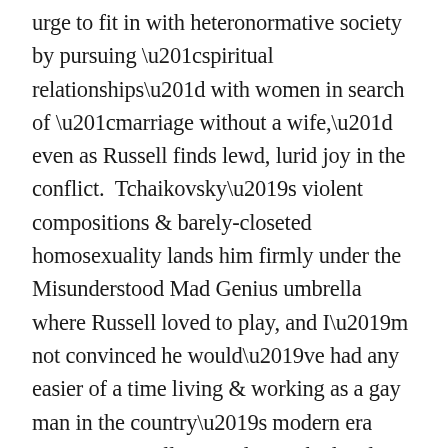urge to fit in with heteronormative society by pursuing “spiritual relationships” with women in search of “marriage without a wife,” even as Russell finds lewd, lurid joy in the conflict.  Tchaikovsky’s violent compositions & barely-closeted homosexuality lands him firmly under the Misunderstood Mad Genius umbrella where Russell loved to play, and I’m not convinced he would’ve had any easier of a time living & working as a gay man in the country’s modern era – especially considering the legal troubles of contemporary iconoclastic artists like Leto director Kirill Serebrennikov (who incidentally has a movie titled Tchaikovsky’s Wife premiering at this year’s Cannes) and the punk band Pussy Riot.  Then again, Russell’s Tchaikovsky biopic is so indulgent in its fantasy sequences and stylistic expressiveness that it’s likely foolish to form any concrete historical or political